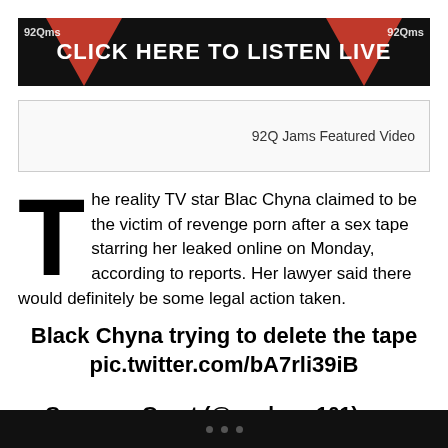[Figure (other): 92Q Jams radio station banner: dark background with red triangles and text 'CLICK HERE TO LISTEN LIVE']
92Q Jams Featured Video
The reality TV star Blac Chyna claimed to be the victim of revenge porn after a sex tape starring her leaked online on Monday, according to reports. Her lawyer said there would definitely be some legal action taken.
Black Chyna trying to delete the tape pic.twitter.com/bA7rli39iB
— Cameron Grant (@coolcam101) February